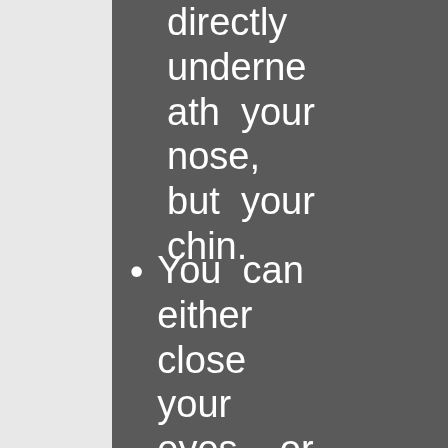directly underneath your nose, but your chin.
You can either close your eyes or get lost inside the candle flame